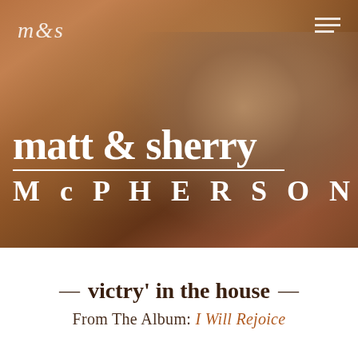m&s
[Figure (photo): Hero image of Matt and Sherry McPherson, a couple sitting together in a warm, wood-toned interior setting. Man on left in plaid shirt, woman on right in dark jacket. Background shows wooden walls and green plants.]
matt & sherry McPHERSON
— victry' in the house —
From The Album: I Will Rejoice